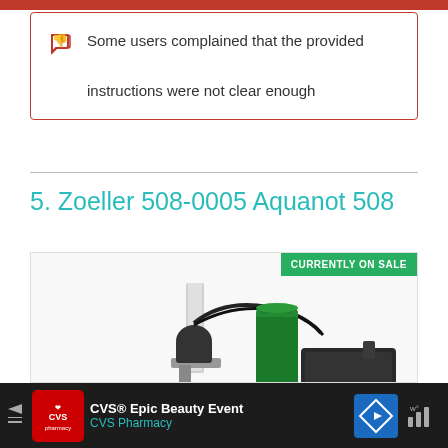Some users complained that the provided instructions were not clear enough
5. Zoeller 508-0005 Aquanot 508
[Figure (photo): Product photo of Zoeller 508-0005 Aquanot 508 backup sump pump with green cylindrical battery and black motor unit mounted on a vertical pipe, with 'CURRENTLY ON SALE' badge in top right]
CVS® Epic Beauty Event CVS Pharmacy